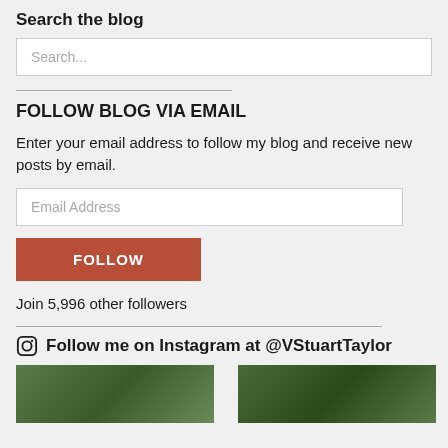Search the blog
Search...
FOLLOW BLOG VIA EMAIL
Enter your email address to follow my blog and receive new posts by email.
Email Address
FOLLOW
Join 5,996 other followers
Follow me on Instagram at @VStuartTaylor
[Figure (photo): Two Instagram photo thumbnails showing outdoor/nature scenes]